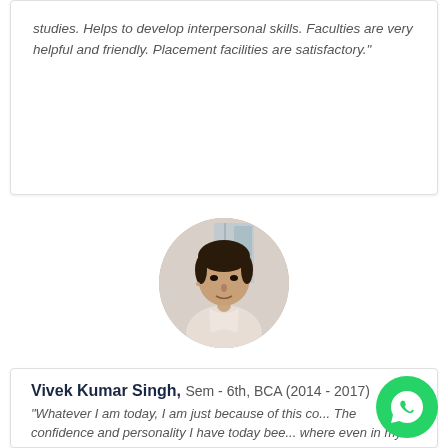studies. Helps to develop interpersonal skills. Faculties are very helpful and friendly. Placement facilities are satisfactory."
[Figure (photo): Circular profile photo of Vivek Kumar Singh, a young man in a light-colored shirt]
Vivek Kumar Singh, Sem - 6th, BCA (2014 - 2017)
"Whatever I am today, I am just because of this co... The confidence and personality I have today bee... where even in my imagination. This college provided